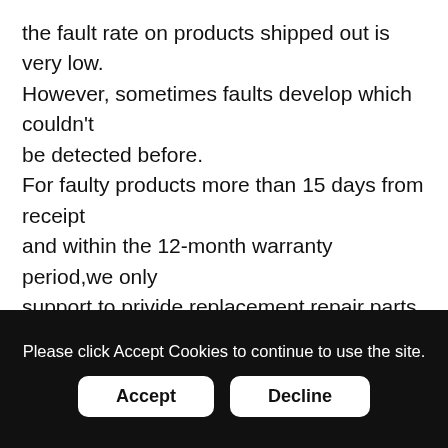the fault rate on products shipped out is very low. However, sometimes faults develop which couldn't be detected before. For faulty products more than 15 days from receipt and within the 12-month warranty period,we only support to privide replacement repair parts for free.
5. Time limit for exchange
We will ship the new products within 3-5 working days after receiving and confirming the
Please click Accept Cookies to continue to use the site.